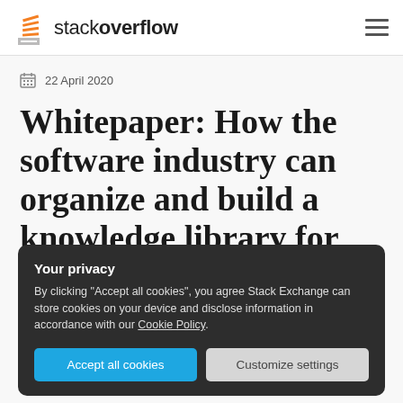Stack Overflow
22 April 2020
Whitepaper: How the software industry can organize and build a knowledge library for their...
Your privacy
By clicking “Accept all cookies”, you agree Stack Exchange can store cookies on your device and disclose information in accordance with our Cookie Policy.
Accept all cookies | Customize settings